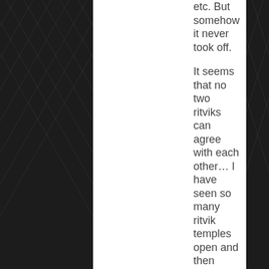etc. But somehow it never took off.
It seems that no two ritviks can agree with each other… I have seen so many ritvik temples open and then soon